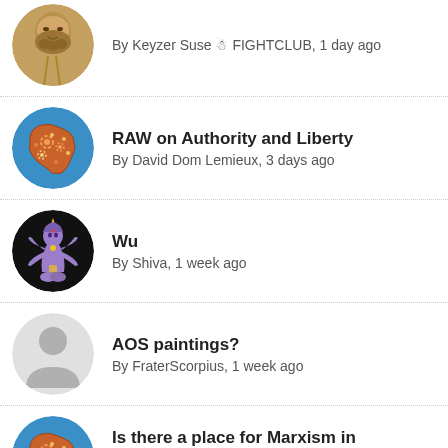By Keyzer Suse ☃ FIGHTCLUB, 1 day ago
RAW on Authority and Liberty
By David Dom Lemieux, 3 days ago
Wu
By Shiva, 1 week ago
AOS paintings?
By FraterScorpius, 1 week ago
Is there a place for Marxism in Thelema?
By David Dom Lemieux, 2 weeks ago